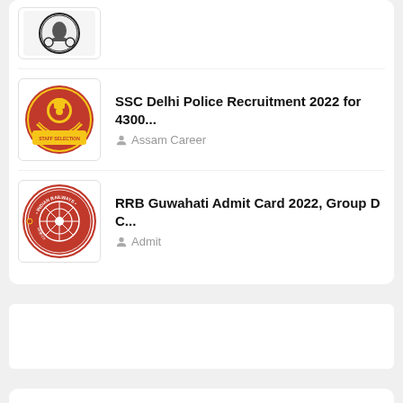[Figure (logo): Partial view of a government/organization logo at top]
SSC Delhi Police Recruitment 2022 for 4300... — Assam Career
[Figure (logo): Indian Railways circular logo, red background with train image]
RRB Guwahati Admit Card 2022, Group D C... — Admit
> LABELS
Label buttons row (partially visible)